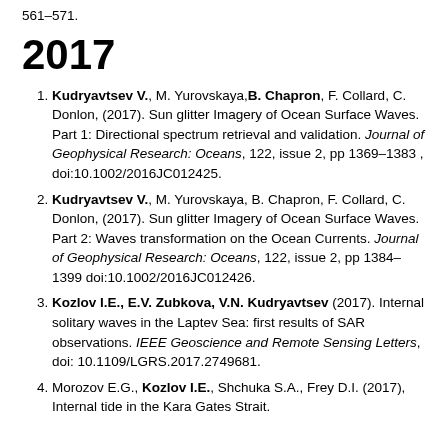561–571.
2017
Kudryavtsev V., M. Yurovskaya, B. Chapron, F. Collard, C. Donlon, (2017). Sun glitter Imagery of Ocean Surface Waves. Part 1: Directional spectrum retrieval and validation. Journal of Geophysical Research: Oceans, 122, issue 2, pp 1369–1383 , doi:10.1002/2016JC012425.
Kudryavtsev V., M. Yurovskaya, B. Chapron, F. Collard, C. Donlon, (2017). Sun glitter Imagery of Ocean Surface Waves. Part 2: Waves transformation on the Ocean Currents. Journal of Geophysical Research: Oceans, 122, issue 2, pp 1384–1399 doi:10.1002/2016JC012426.
Kozlov I.E., E.V. Zubkova, V.N. Kudryavtsev (2017). Internal solitary waves in the Laptev Sea: first results of SAR observations. IEEE Geoscience and Remote Sensing Letters, doi: 10.1109/LGRS.2017.2749681.
Morozov E.G., Kozlov I.E., Shchuka S.A., Frey D.I. (2017), Internal tide in the Kara Gates Strait. Oceanology, Vol. 57, No.1, pp. 8-10, doi:…